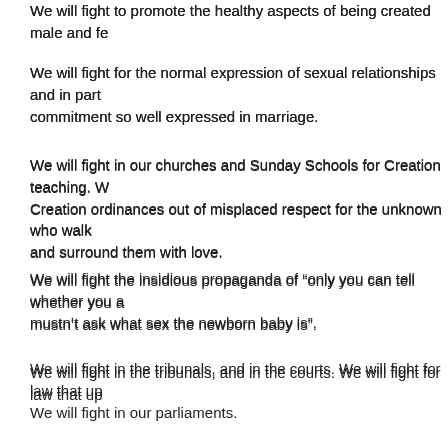We will fight to promote the healthy aspects of being created male and fe...
We will fight for the normal expression of sexual relationships and in part... commitment so well expressed in marriage.
We will fight in our churches and Sunday Schools for Creation teaching. W... Creation ordinances out of misplaced respect for the unknown who walk... and surround them with love.
We will fight the insidious propaganda of “only you can tell whether you a... mustn’t ask what sex the newborn baby is”.
We will fight in the tribunals, and in the courts. We will fight for law that up...
We will fight in our parliaments.
We will fight at election time. As Christians we will fight for a public voice.... preferential voting.
We will fight for good science. The time for politeness on this issue has p...
Even though legislation has gone against us in several states we shall no... the end. We shall fight in our courts and in our legislatures, we shall defe... may be. We shall fight in our schools and in our universities, we shall figh...